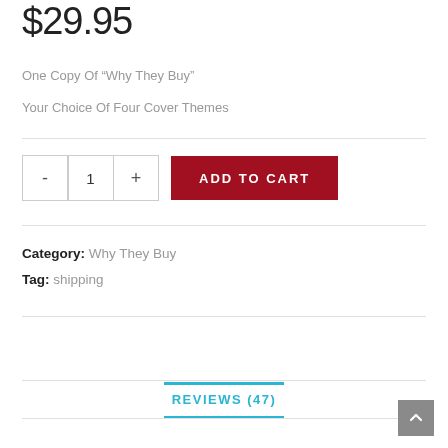$29.95
One Copy Of “Why They Buy”
Your Choice Of Four Cover Themes
- 1 + ADD TO CART
Category: Why They Buy
Tag: shipping
REVIEWS (47)